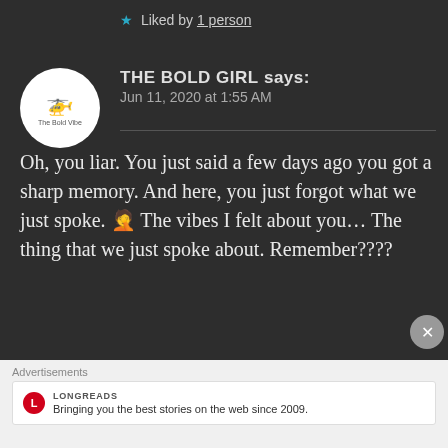★ Liked by 1 person
THE BOLD GIRL says:
Jun 11, 2020 at 1:55 AM
Oh, you liar. You just said a few days ago you got a sharp memory. And here, you just forgot what we just spoke. 🤦 The vibes I felt about you... The thing that we just spoke about. Remember????
Advertisements
LONGREADS
Bringing you the best stories on the web since 2009.